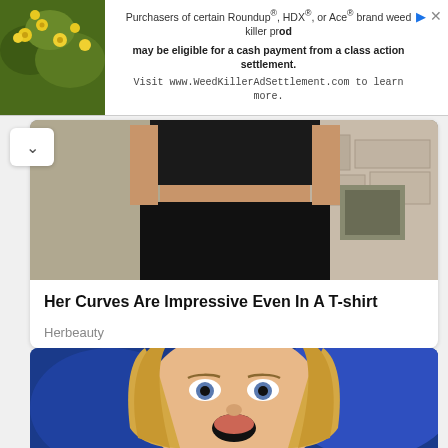[Figure (screenshot): Advertisement banner: Purchasers of certain Roundup®, HDX®, or Ace® brand weed killer products may be eligible for a cash payment from a class action settlement. Visit www.WeedKillerAdSettlement.com to learn more. Left side shows a photo of yellow flowers on green foliage.]
[Figure (photo): Torso of a woman wearing a black crop top and black high-waisted pants, standing outdoors against a stone wall background.]
Her Curves Are Impressive Even In A T-shirt
Herbeauty
[Figure (photo): Close-up portrait of a blonde woman with blue eyes, mouth open in a surprised expression, appearing on what looks like a TV broadcast setting with blue background lighting.]